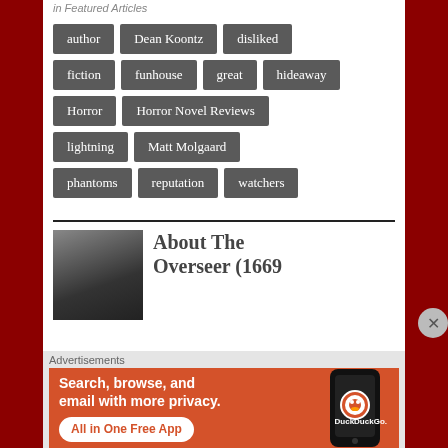in Featured Articles
author
Dean Koontz
disliked
fiction
funhouse
great
hideaway
Horror
Horror Novel Reviews
lightning
Matt Molgaard
phantoms
reputation
watchers
About The Overseer (1669
Advertisements
Search, browse, and email with more privacy. All in One Free App